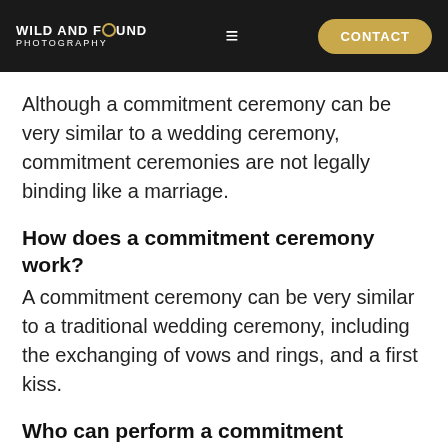WILD AND FOUND PHOTOGRAPHY | CONTACT
Although a commitment ceremony can be very similar to a wedding ceremony, commitment ceremonies are not legally binding like a marriage.
How does a commitment ceremony work?
A commitment ceremony can be very similar to a traditional wedding ceremony, including the exchanging of vows and rings, and a first kiss.
Who can perform a commitment ceremony?
Since a commitment ceremony is not legally binding, you do not need an officiant. Anyone can lead a commitment ceremony, including a friend or family member.